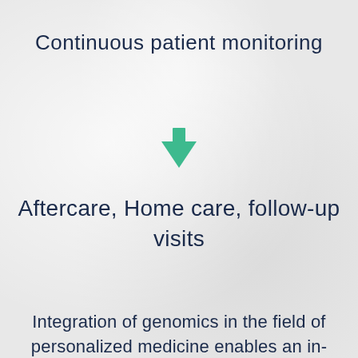Continuous patient monitoring
[Figure (infographic): A teal/green downward-pointing arrow indicating flow or progression]
Aftercare, Home care, follow-up visits
Integration of genomics in the field of personalized medicine enables an in-